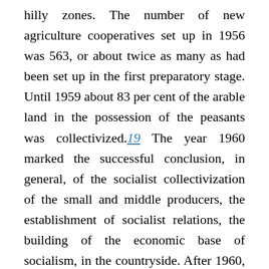hilly zones. The number of new agriculture cooperatives set up in 1956 was 563, or about twice as many as had been set up in the first preparatory stage. Until 1959 about 83 per cent of the arable land in the possession of the peasants was collectivized.19 The year 1960 marked the successful conclusion, in general, of the socialist collectivization of the small and middle producers, the establishment of socialist relations, the building of the economic base of socialism, in the countryside. After 1960, collectivization was extended in the mountainous zones, and finally covered the whole country in 1967.
The successful conclusion of the socialist collectivization of the small and middle producers of